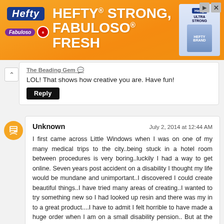[Figure (photo): Hefty brand advertisement banner with orange background. Text reads: HEFTY STRONG, FABULOSO FRESH. Shows Hefty logo, Fabuloso logo, Arm & Hammer logo, and Hefty Ultra Strong product image.]
The Beading Gem
LOL! That shows how creative you are. Have fun!
Reply
Unknown
July 2, 2014 at 12:44 AM
I first came across Little Windows when I was on one of my many medical trips to the city..being stuck in a hotel room between procedures is very boring..luckily I had a way to get online. Seven years post accident on a disability I thought my life would be mundane and unimportant..I discovered I could create beautiful things..I have tried many areas of creating..I wanted to try something new so I had looked up resin and there was my in to a great product....I have to admit I felt horrible to have made a huge order when I am on a small disability pension.. But at the same time I was excited.. Ty Little Windows for opening the door to a whole new world of resin...I LOVE this resin it is so easy to work with..and I make wonderful jewerley...I have a TBA if